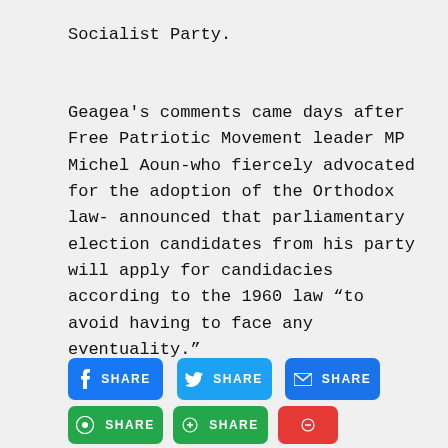Socialist Party.
Geagea's comments came days after Free Patriotic Movement leader MP Michel Aoun-who fiercely advocated for the adoption of the Orthodox law- announced that parliamentary election candidates from his party will apply for candidacies according to the 1960 law “to avoid having to face any eventuality.”
Now
[Figure (other): Three share buttons in a row: Facebook (blue), Twitter (blue), Email (blue), followed by a second row with two green buttons and one red button, all labeled SHARE]